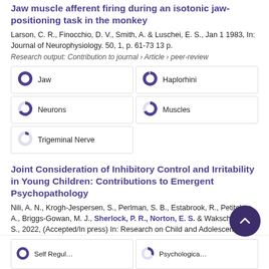Jaw muscle afferent firing during an isotonic jaw-positioning task in the monkey
Larson, C. R., Finocchio, D. V., Smith, A. & Luschei, E. S., Jan 1 1983, In: Journal of Neurophysiology. 50, 1, p. 61-73 13 p.
Research output: Contribution to journal › Article › peer-review
[Figure (infographic): Keyword badges with donut/pie indicators: Jaw 100%, Haplorhini ~90%, Neurons ~65%, Muscles ~65%, Trigeminal Nerve ~10%]
Joint Consideration of Inhibitory Control and Irritability in Young Children: Contributions to Emergent Psychopathology
Nili, A. N., Krogh-Jespersen, S., Perlman, S. B., Estabrook, R., Petitclerc, A., Briggs-Gowan, M. J., Sherlock, P. R., Norton, E. S. & Wakschlag, L. S., 2022, (Accepted/In press) In: Research on Child and Adolescent Psychopathology.
Research output: Contribution to journal › Article › peer-review